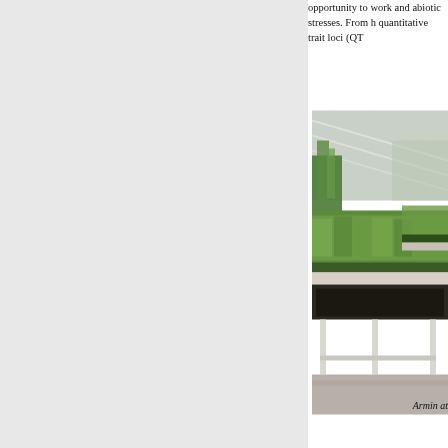opportunity to work and abiotic stresses. From h quantitative trait loci (QT
[Figure (photo): Greenhouse photo showing trays of green rice or grass seedlings on white metal benches inside a glass greenhouse structure]
Armin at